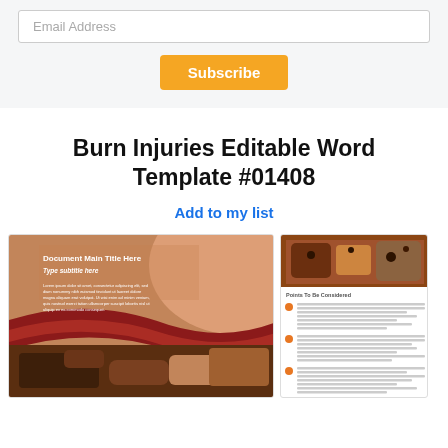Email Address
Subscribe
Burn Injuries Editable Word Template #01408
Add to my list
[Figure (screenshot): Preview of a burn injuries word template cover page with brown/orange background, red swoosh design, burned hand photo, and placeholder lorem ipsum text with title 'Document Main Title Here' and subtitle 'Type subtitle here']
[Figure (screenshot): Preview of a second page of the burn injuries template showing a photo of a burned hand at top, 'Points To Be Considered' heading, and three sections of lorem ipsum placeholder text with orange bullet points]